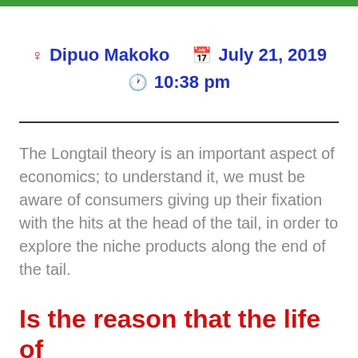Dipuo Makoko   July 21, 2019   10:38 pm
The Longtail theory is an important aspect of economics; to understand it, we must be aware of consumers giving up their fixation with the hits at the head of the tail, in order to explore the niche products along the end of the tail.
Is the reason that the life of